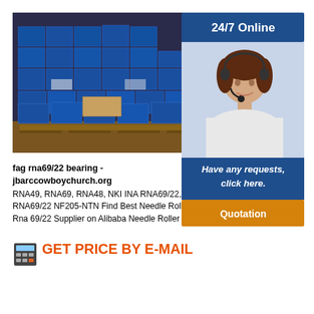[Figure (photo): Warehouse with stacked blue boxes/packages of bearings on pallets]
fag rna69/22 bearing - jbarccowboychurch.org
RNA49, RNA69, RNA48, NKI INA RNA69/22,INA,INA RNA69/22 NF205-NTN Find Best Needle Roller Bearing Rna 69/22 Supplier on Alibaba Needle Roller
[Figure (infographic): 24/7 Online banner with customer service agent photo, Have any requests click here text, and Quotation button]
GET PRICE BY E-MAIL